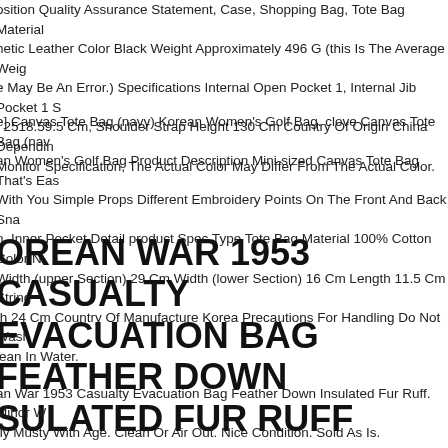osition Quality Assurance Statement, Case, Shopping Bag, Tote Bag Material hetic Leather Color Black Weight Approximately 496 G (this Is The Average Weig e May Be An Error.) Specifications Internal Open Pocket 1, Internal Jib Pocket 1 S t 2518.59.5 Cm, Shoulder Strap Height 130 Cm Country Of Origin China Dependin Monitor Specification, The Actual Color May Differ From The Actual Color.
e] Canvas Tote Bag (navy) Korean Women's Golf Bag. clove Canvas Tote Bag (nav an Women's Golf Bag Product Description Mini-sized Canvas Tote Bag That's Eas With You Simple Props Different Embroidery Points On The Front And Back Sna n, Inner Pocket Detail product Spec Type Tote Bag Material 100% Cotton Color N Width (upper Section) 29 Cm Width (lower Section) 16 Cm Length 11.5 Cm String th 24 Cm Country Of Manufacture Korea Precautions For Handling Do Not Wash lean In Water.
OREAN WAR 1953 CASUALTY EVACUATION BAG FEATHER DOWN SULATED FUR RUFF
an War 1953 Casualty Evacuation Bag Feather Down Insulated Fur Ruff. Minor W tly Musty With Age. Clean Or Air Out. Nice Condition. Sold As Is.
Mcdonalds Authentic Crew T-shirt Sm4xl New! *traratt Free Made A Box. Nav...